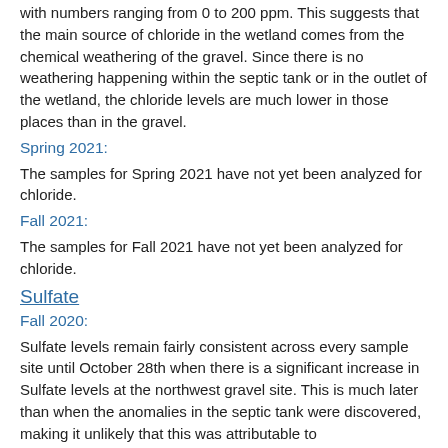with numbers ranging from 0 to 200 ppm. This suggests that the main source of chloride in the wetland comes from the chemical weathering of the gravel. Since there is no weathering happening within the septic tank or in the outlet of the wetland, the chloride levels are much lower in those places than in the gravel.
Spring 2021:
The samples for Spring 2021 have not yet been analyzed for chloride.
Fall 2021:
The samples for Fall 2021 have not yet been analyzed for chloride.
Sulfate
Fall 2020:
Sulfate levels remain fairly consistent across every sample site until October 28th when there is a significant increase in Sulfate levels at the northwest gravel site. This is much later than when the anomalies in the septic tank were discovered, making it unlikely that this was attributable to